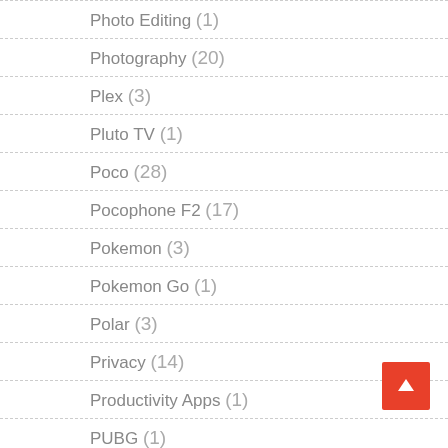Photo Editing (1)
Photography (20)
Plex (3)
Pluto TV (1)
Poco (28)
Pocophone F2 (17)
Pokemon (3)
Pokemon Go (1)
Polar (3)
Privacy (14)
Productivity Apps (1)
PUBG (1)